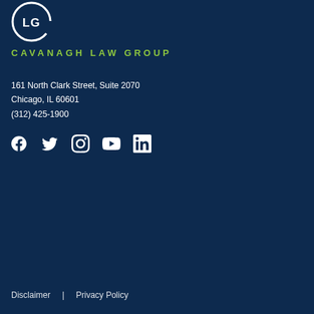[Figure (logo): Cavanagh Law Group circular logo with 'LG' text in white on dark navy background]
CAVANAGH LAW GROUP
161 North Clark Street, Suite 2070
Chicago, IL 60601
(312) 425-1900
[Figure (infographic): Social media icons: Facebook, Twitter, Instagram, YouTube, LinkedIn]
Disclaimer  |  Privacy Policy